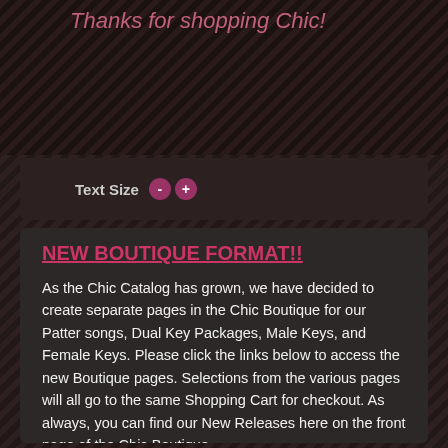Thanks for shopping Chic!
Text Size - +
NEW BOUTIQUE FORMAT!!
As the Chic Catalog has grown, we have decided to create separate pages in the Chic Boutique for our Patter songs, Dual Key Packages, Male Keys, and Female Keys. Please click the links below to access the new Boutique pages. Selections from the various pages will all go to the same Shopping Cart for checkout. As always, you can find our New Releases here on the front page of the Chic Boutique.